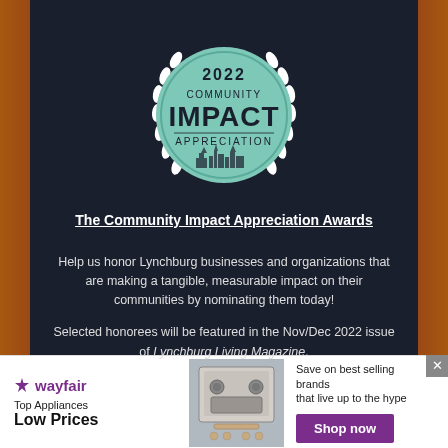[Figure (logo): 2022 Community Impact Appreciation Awards badge with laurel wreaths on dark background, green circular badge]
The Community Impact Appreciation Awards
Help us honor Lynchburg businesses and organizations that are making a tangible, measurable impact on their communities by nominating them today!
Selected honorees will be featured in the Nov/Dec 2022 issue of Lynchburg Living Magazine.
[Figure (infographic): Wayfair advertisement banner: Top Appliances Low Prices, Save on best selling brands that live up to the hype, Shop now button]